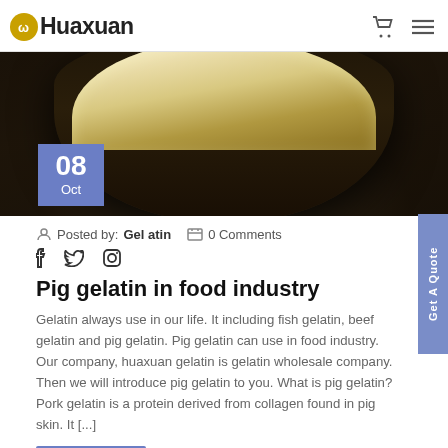Huaxuan
[Figure (photo): Bowl of white granular gelatin powder on a dark background]
08 Oct
Posted by: Gel atin   0 Comments
Social icons: facebook, twitter, instagram
Pig gelatin in food industry
Gelatin always use in our life. It including fish gelatin, beef gelatin and pig gelatin. Pig gelatin can use in food industry. Our company, huaxuan gelatin is gelatin wholesale company. Then we will introduce pig gelatin to you. What is pig gelatin? Pork gelatin is a protein derived from collagen found in pig skin. It [...]
Get A Quote